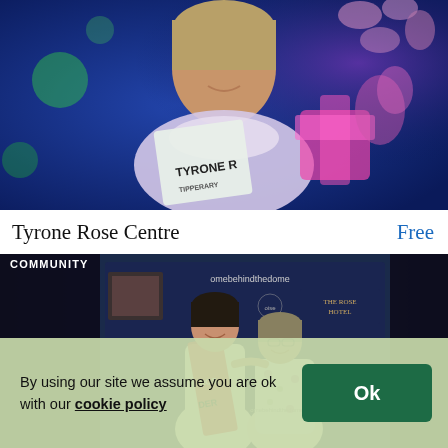[Figure (photo): Young woman wearing a 'Tyrone Rose' sash, smiling, holding flowers, on a stage with colorful lighting in the background]
Tyrone Rose Centre
Free
[Figure (photo): Two women posing together in front of a 'The Rose Hotel' banner; left woman wears a red and white 'Rose of Tralee' sash reading 'DER...'; text 'COMMUNITY' in top-left corner; text 'omebehindthedome' visible on banner]
By using our site we assume you are ok with our cookie policy